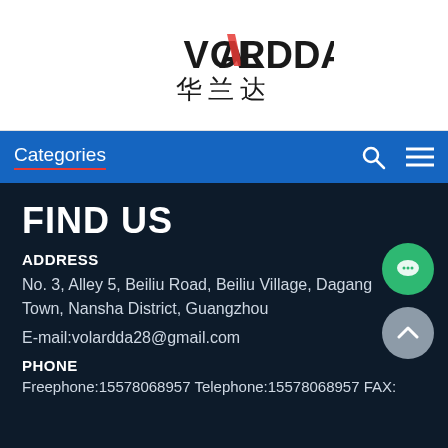[Figure (logo): VOLARDDA logo with Chinese characters 华兰达 below]
Categories
FIND US
ADDRESS
No. 3, Alley 5, Beiliu Road, Beiliu Village, Dagang Town, Nansha District, Guangzhou
E-mail:volardda28@gmail.com
PHONE
Freephone:15578068957 Telephone:15578068957 FAX:
Leave a message